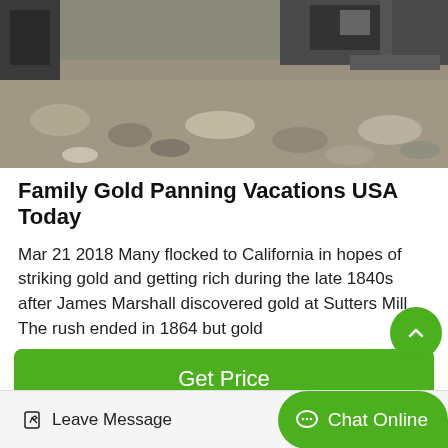[Figure (photo): Outdoor photo of rocky/gravelly mining site with heavy machinery visible at top]
Family Gold Panning Vacations USA Today
Mar 21 2018 Many flocked to California in hopes of striking gold and getting rich during the late 1840s after James Marshall discovered gold at Sutters Mill The rush ended in 1864 but gold
Get Price
Leave Message
Chat Online